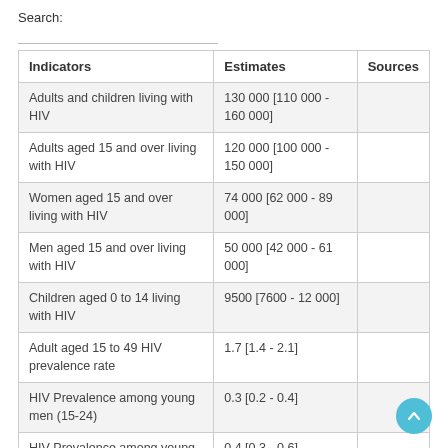Search:
| Indicators | Estimates | Sources |
| --- | --- | --- |
| Adults and children living with HIV | 130 000 [110 000 - 160 000] |  |
| Adults aged 15 and over living with HIV | 120 000 [100 000 - 150 000] |  |
| Women aged 15 and over living with HIV | 74 000 [62 000 - 89 000] |  |
| Men aged 15 and over living with HIV | 50 000 [42 000 - 61 000] |  |
| Children aged 0 to 14 living with HIV | 9500 [7600 - 12 000] |  |
| Adult aged 15 to 49 HIV prevalence rate | 1.7 [1.4 - 2.1] |  |
| HIV Prevalence among young men (15-24) | 0.3 [0.2 - 0.4] |  |
| HIV Prevalence among young | 0.4 [0.3 - 0.6] |  |